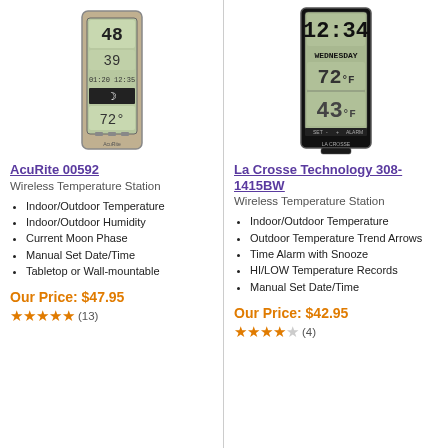[Figure (photo): AcuRite 00592 wireless temperature station device, silver/gray color with LCD display showing temperatures 48 and 39, moon phase, and other readings.]
AcuRite 00592
Wireless Temperature Station
Indoor/Outdoor Temperature
Indoor/Outdoor Humidity
Current Moon Phase
Manual Set Date/Time
Tabletop or Wall-mountable
Our Price: $47.95
★★★★★ (13)
[Figure (photo): La Crosse Technology 308-1415BW wireless temperature station, black color with LCD display showing 12:34, WEDNESDAY, 72°F indoor and 43°F outdoor.]
La Crosse Technology 308-1415BW
Wireless Temperature Station
Indoor/Outdoor Temperature
Outdoor Temperature Trend Arrows
Time Alarm with Snooze
HI/LOW Temperature Records
Manual Set Date/Time
Our Price: $42.95
★★★★☆ (4)